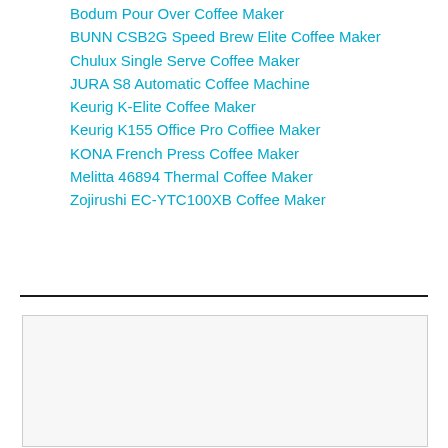Bodum Pour Over Coffee Maker
BUNN CSB2G Speed Brew Elite Coffee Maker
Chulux Single Serve Coffee Maker
JURA S8 Automatic Coffee Machine
Keurig K-Elite Coffee Maker
Keurig K155 Office Pro Coffiee Maker
KONA French Press Coffee Maker
Melitta 46894 Thermal Coffee Maker
Zojirushi EC-YTC100XB Coffee Maker
[Figure (other): Empty rounded rectangle box at the bottom of the page]